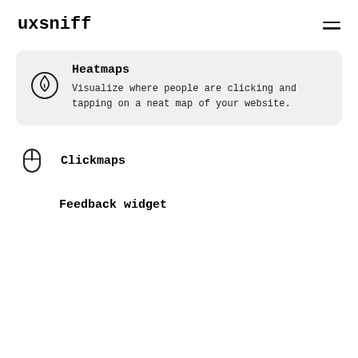uxsniff
[Figure (illustration): Heatmaps card with flame icon, bold title 'Heatmaps', and description text]
Heatmaps
Visualize where people are clicking and tapping on a neat map of your website.
Clickmaps
Feedback widget